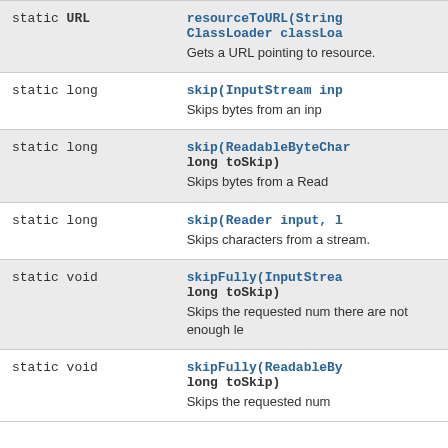| Type | Method and Description |
| --- | --- |
| static URL | resourceToURL(String..., ClassLoader classLoa...
Gets a URL pointing to resource. |
| static long | skip(InputStream inp...
Skips bytes from an inp... |
| static long | skip(ReadableByteChar...
long toSkip)
Skips bytes from a Read... |
| static long | skip(Reader input, l...
Skips characters from a stream. |
| static void | skipFully(InputStrea...
long toSkip)
Skips the requested num... there are not enough le... |
| static void | skipFully(ReadableBy...
long toSkip)
Skips the requested num... |